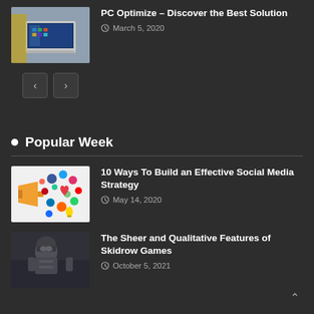[Figure (photo): Laptop computer with Windows interface on screen, placed on a desk]
PC Optimize – Discover the Best Solution
March 5, 2020
< >
Popular Week
[Figure (illustration): Social media icons and megaphone illustration with colorful icons]
10 Ways To Build an Effective Social Media Strategy
May 14, 2020
[Figure (photo): Person in dark gaming/military gear, game screenshot]
The Sheer and Qualitative Features of Skidrow Games
October 5, 2021